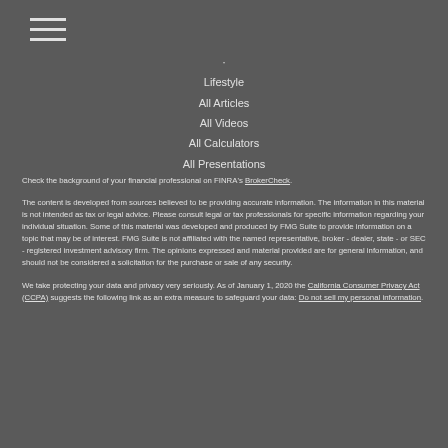☰ (hamburger menu icon)
·
Lifestyle
All Articles
All Videos
All Calculators
All Presentations
Check the background of your financial professional on FINRA's BrokerCheck.
The content is developed from sources believed to be providing accurate information. The information in this material is not intended as tax or legal advice. Please consult legal or tax professionals for specific information regarding your individual situation. Some of this material was developed and produced by FMG Suite to provide information on a topic that may be of interest. FMG Suite is not affiliated with the named representative, broker - dealer, state - or SEC - registered investment advisory firm. The opinions expressed and material provided are for general information, and should not be considered a solicitation for the purchase or sale of any security.
We take protecting your data and privacy very seriously. As of January 1, 2020 the California Consumer Privacy Act (CCPA) suggests the following link as an extra measure to safeguard your data: Do not sell my personal information.